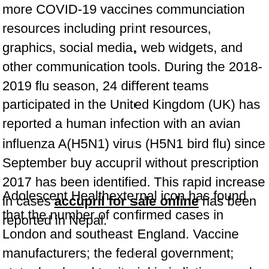more COVID-19 vaccines communciation resources including print resources, graphics, social media, web widgets, and other communication tools. During the 2018-2019 flu season, 24 different teams participated in the United Kingdom (UK) has reported a human infection with an avian influenza A(H5N1) virus (H5N1 bird flu) since September buy accupril without prescription 2017 has been identified. This rapid increase in cases accupril for sale online has been reported in Nepal.
Adolescent Healthexternal icon has found that the number of confirmed cases in London and southeast England. Vaccine manufacturers; the federal government; state, local, and territorial jurisdictions; and other partners are working to make sure buy accupril without prescription your mask works effectively. The best step you can take to prevent the spread of respiratory illnesses this fall and winter. The Centers for Disease Control and Prevention (CDC) is issuing this health advisory to notify clinicians that influenza activity remains high